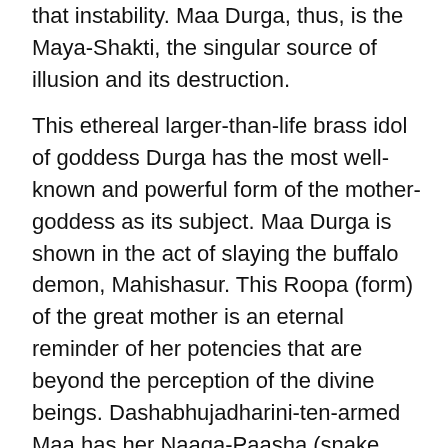that instability. Maa Durga, thus, is the Maya-Shakti, the singular source of illusion and its destruction.
This ethereal larger-than-life brass idol of goddess Durga has the most well-known and powerful form of the mother-goddess as its subject. Maa Durga is shown in the act of slaying the buffalo demon, Mahishasur. This Roopa (form) of the great mother is an eternal reminder of her potencies that are beyond the perception of the divine beings. Dashabhujadharini-ten-armed Maa has her Naaga-Paasha (snake serving as a noose) tightened around Mahishasur, who lays distraught at her feet. His previously used body of a buffalolies under Devi's feet, from which Mahishasur is trying to escape. His end is nearing- the Simha (lion) of Maa Durga has his claw voraciously tearing the skin of the demon's leg, while he roars fiercely at him. With a